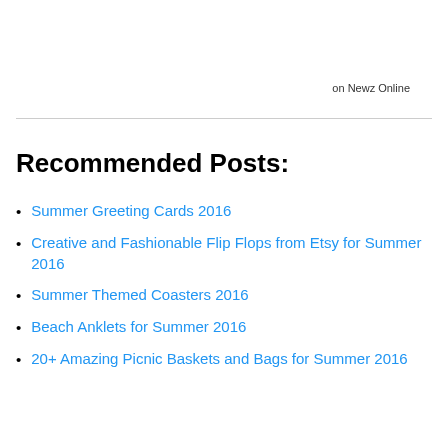on Newz Online
Recommended Posts:
Summer Greeting Cards 2016
Creative and Fashionable Flip Flops from Etsy for Summer 2016
Summer Themed Coasters 2016
Beach Anklets for Summer 2016
20+ Amazing Picnic Baskets and Bags for Summer 2016